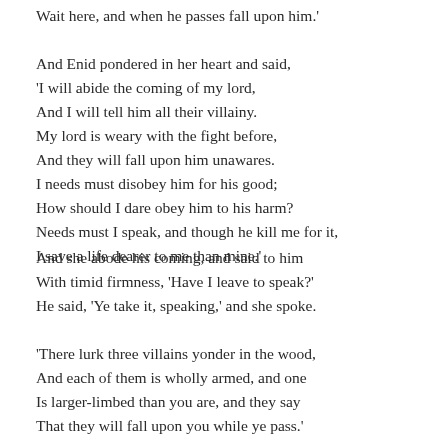Wait here, and when he passes fall upon him.'
And Enid pondered in her heart and said,
'I will abide the coming of my lord,
And I will tell him all their villainy.
My lord is weary with the fight before,
And they will fall upon him unawares.
I needs must disobey him for his good;
How should I dare obey him to his harm?
Needs must I speak, and though he kill me for it,
I save a life dearer to me than mine.'
And she abode his coming, and said to him
With timid firmness, 'Have I leave to speak?'
He said, 'Ye take it, speaking,' and she spoke.
'There lurk three villains yonder in the wood,
And each of them is wholly armed, and one
Is larger-limbed than you are, and they say
That they will fall upon you while ye pass.'